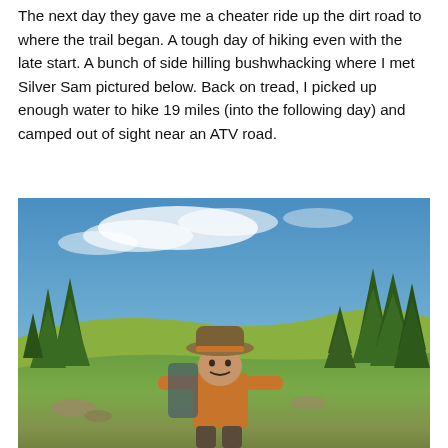The next day they gave me a cheater ride up the dirt road to where the trail began. A tough day of hiking even with the late start. A bunch of side hilling bushwhacking where I met Silver Sam pictured below. Back on tread, I picked up enough water to hike 19 miles (into the following day) and camped out of sight near an ATV road.
[Figure (photo): Outdoor hiking photo showing a person wearing a wide-brimmed hat and orange shirt in a mountainous landscape with green grass, scattered rocks, conifer trees on the slopes, and a bright blue sky with white clouds.]